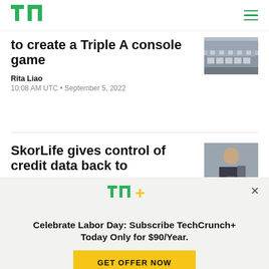TechCrunch
to create a Triple A console game
Rita Liao
10:08 AM UTC • September 5, 2022
SkorLife gives control of credit data back to
TC+
Celebrate Labor Day: Subscribe TechCrunch+ Today Only for $90/Year.
GET OFFER NOW